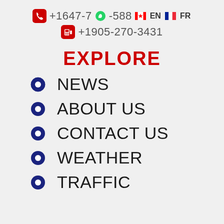+1647-700-588  EN  FR
+1905-270-3431
EXPLORE
NEWS
ABOUT US
CONTACT US
WEATHER
TRAFFIC